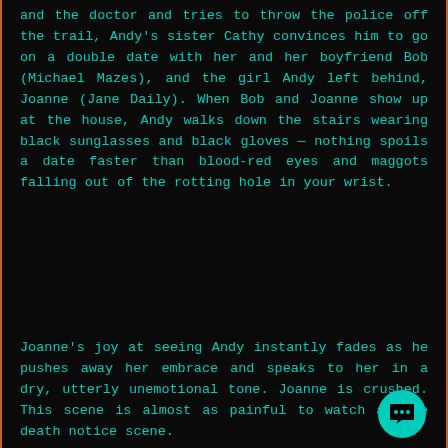and the doctor and tries to throw the police off the trail, Andy's sister Cathy convinces him to go on a double date with her and her boyfriend Bob (Michael Mazes), and the girl Andy left behind, Joanne (Jane Daily). When Bob and Joanne show up at the house, Andy walks down the stairs wearing black sunglasses and black gloves — nothing spoils a date faster than blood-red eyes and maggots falling out of the rotting hole in your wrist.
Joanne's joy at seeing Andy instantly fades as he pushes away her embrace and speaks to her in a dry, utterly unemotional tone. Joanne is crushed. This scene is almost as painful to watch as the death notice scene.
5